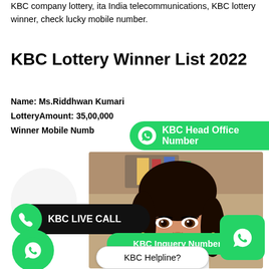KBC company lottery, ita India telecommunications, KBC lottery winner, check lucky mobile number.
KBC Lottery Winner List 2022
Name: Ms.Riddhwan Kumari
LotteryAmount: 35,00,000
Winner Mobile Numb
[Figure (infographic): Green WhatsApp-style button with WhatsApp logo icon and text 'KBC Head Office Number']
[Figure (photo): Photo of a young woman with dark hair and makeup, wearing white top]
[Figure (infographic): Black pill button with green phone circle icon and text 'KBC LIVE CALL']
[Figure (infographic): Green pill button with text 'KBC Inquery Number']
[Figure (infographic): White pill button with text 'KBC Helpline?']
[Figure (logo): WhatsApp green circle logo bottom left]
[Figure (logo): WhatsApp green rounded square logo bottom right]